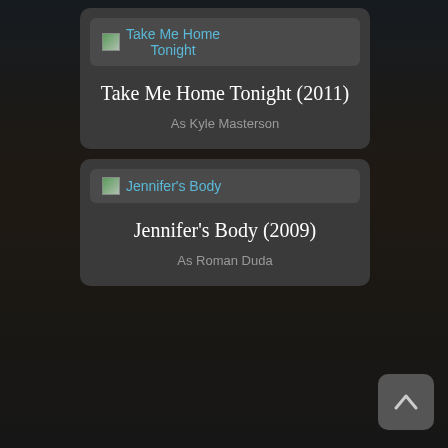[Figure (screenshot): Movie listing card for 'Take Me Home Tonight (2011)' showing a broken image thumbnail labeled 'Take Me Home Tonight', movie title, and role 'As Kyle Masterson']
[Figure (screenshot): Movie listing card for 'Jennifer's Body (2009)' showing a broken image thumbnail labeled 'Jennifer's Body', movie title, and role 'As Roman Duda']